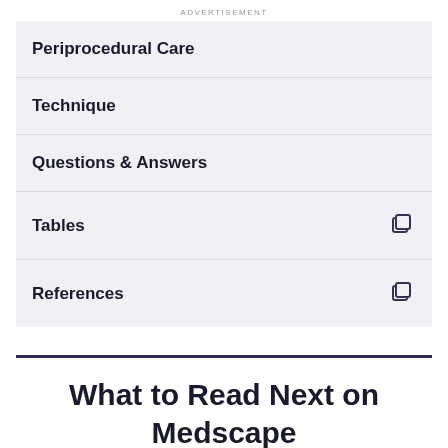ADVERTISEMENT
Periprocedural Care
Technique
Questions & Answers
Tables
References
What to Read Next on Medscape